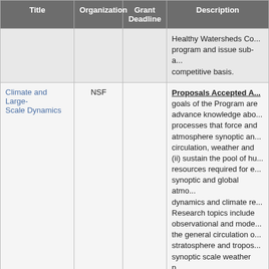| Title | Organization | Grant Deadline | Description |
| --- | --- | --- | --- |
|  |  |  | Healthy Watersheds Co... program and issue sub-a... competitive basis. |
| Climate and Large-Scale Dynamics | NSF |  | Proposals Accepted A... goals of the Program are advance knowledge abo... processes that force and atmosphere synoptic an... circulation, weather and (ii) sustain the pool of hu... resources required for e... synoptic and global atmo... dynamics and climate re... Research topics include observational and mode... the general circulation o... stratosphere and tropos... synoptic scale weather p... processes that govern c... causes of climate variab... change; methods to pre... variations; extended we... |